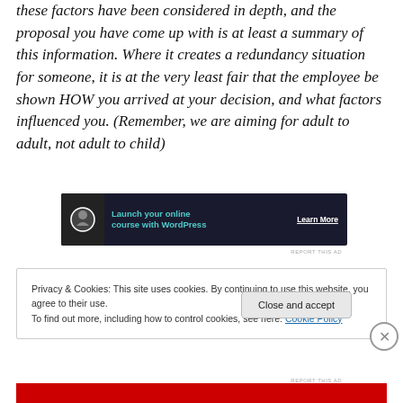these factors have been considered in depth, and the proposal you have come up with is at least a summary of this information. Where it creates a redundancy situation for someone, it is at the very least fair that the employee be shown HOW you arrived at your decision, and what factors influenced you. (Remember, we are aiming for adult to adult, not adult to child)
[Figure (screenshot): Advertisement banner: dark navy background with circular logo icon, teal text 'Launch your online course with WordPress', white 'Learn More' button with underline]
REPORT THIS AD
Privacy & Cookies: This site uses cookies. By continuing to use this website, you agree to their use.
To find out more, including how to control cookies, see here: Cookie Policy
Close and accept